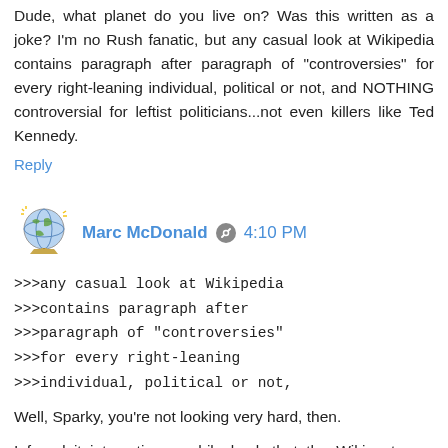Dude, what planet do you live on? Was this written as a joke? I'm no Rush fanatic, but any casual look at Wikipedia contains paragraph after paragraph of "controversies" for every right-leaning individual, political or not, and NOTHING controversial for leftist politicians...not even killers like Ted Kennedy.
Reply
Marc McDonald  4:10 PM
>>>any casual look at Wikipedia
>>>contains paragraph after
>>>paragraph of "controversies"
>>>for every right-leaning
>>>individual, political or not,
Well, Sparky, you're not looking very hard, then.
I found it interesting a while back that the Wiki entry on George W. Bush had ZERO mentions of Valerie Plame (the undercover CIA agent who was treasonously outed by the Bush White House).